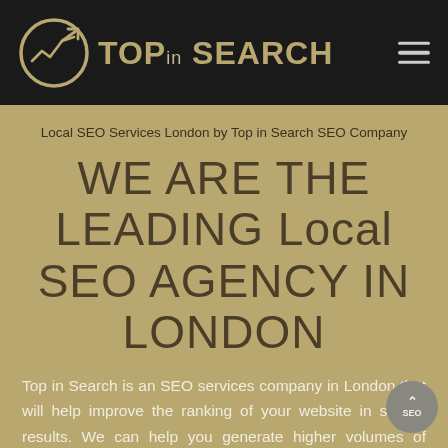[Figure (logo): Top in Search SEO Company logo — circular chart icon with upward arrow on left, stylized text 'TOP in SEARCH' in gold/tan on dark background]
Local SEO Services London by Top in Search SEO Company
WE ARE THE LEADING Local SEO AGENCY IN LONDON
Top in Search is an SEO services company in London that will help improve the ranking of your website in search results. We can help you generate higher volumes of business. Result Driven Local SEO Services Company, Trusted by Big and Small Businesses in London, UK. We can get the page 1